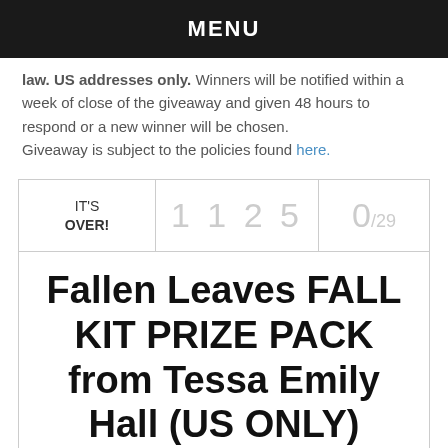MENU
law. US addresses only. Winners will be notified within a week of close of the giveaway and given 48 hours to respond or a new winner will be chosen. Giveaway is subject to the policies found here.
| IT'S OVER! | 1 1 2 5 | 0/29 |
| --- | --- | --- |
Fallen Leaves FALL KIT PRIZE PACK from Tessa Emily Hall (US ONLY)